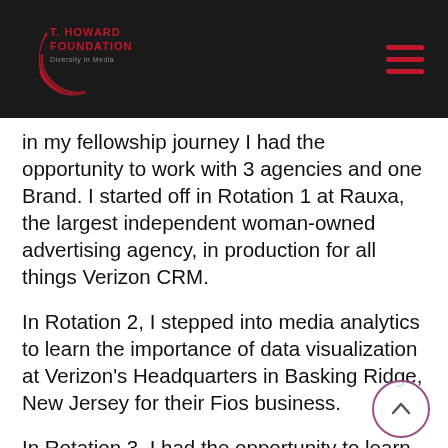T. Howard Foundation — Diversity in Media
In my fellowship journey I had the opportunity to work with 3 agencies and one Brand. I started off in Rotation 1 at Rauxa, the largest independent woman-owned advertising agency, in production for all things Verizon CRM.
In Rotation 2, I stepped into media analytics to learn the importance of data visualization at Verizon's Headquarters in Basking Ridge, New Jersey for their Fios business.
In Rotation 3, I had the opportunity to learn about the ad tech space for brands, publishers, and agencies in the product marketing discipline within Integral Ad Science. In my last rotation, I was able to learn the importance of media and paid social At Zenith (VM1) Verizon's